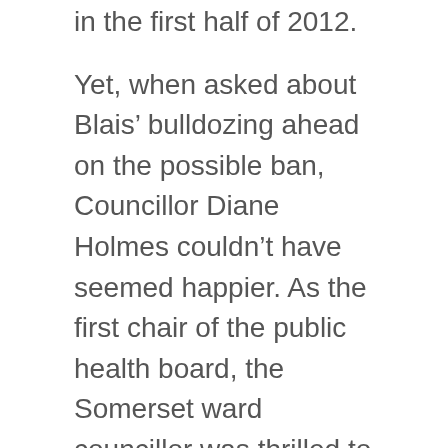in the first half of 2012.
Yet, when asked about Blais' bulldozing ahead on the possible ban, Councillor Diane Holmes couldn't have seemed happier. As the first chair of the public health board, the Somerset ward councillor was thrilled to have the support.
“It’s a nice change from 10 years ago, when we had to drag councillors kicking and screaming,” Holmes said recently, referring to the thencontentious ban on indoor smoking at most establishments (which, by the way, did not result in the widespread closure of